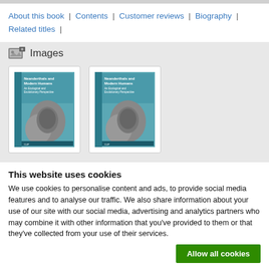About this book | Contents | Customer reviews | Biography | Related titles |
Images
[Figure (photo): Two book cover thumbnails of 'Neanderthals and Modern Humans: An Ecological and Evolutionary Perspective' showing skull imagery on teal/blue covers]
About this book
This website uses cookies
We use cookies to personalise content and ads, to provide social media features and to analyse our traffic. We also share information about your use of our site with our social media, advertising and analytics partners who may combine it with other information that you've provided to them or that they've collected from your use of their services.